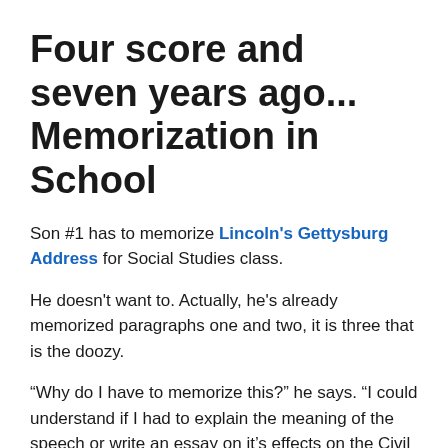Four score and seven years ago... Memorization in School
Son #1 has to memorize Lincoln's Gettysburg Address for Social Studies class.
He doesn't want to. Actually, he's already memorized paragraphs one and two, it is three that is the doozy.
“Why do I have to memorize this?” he says. “I could understand if I had to explain the meaning of the speech or write an essay on it’s effects on the Civil War. Why memorization?”